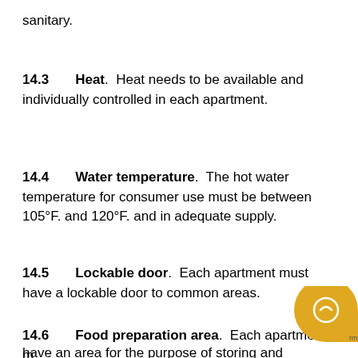sanitary.
14.3  Heat.  Heat needs to be available and individually controlled in each apartment.
14.4  Water temperature.  The hot water temperature for consumer use must be between 105°F. and 120°F. and in adequate supply.
14.5  Lockable door.  Each apartment must have a lockable door to common areas.
14.6  Food preparation area.  Each apartment must have an area for the purpose of storing and preparing